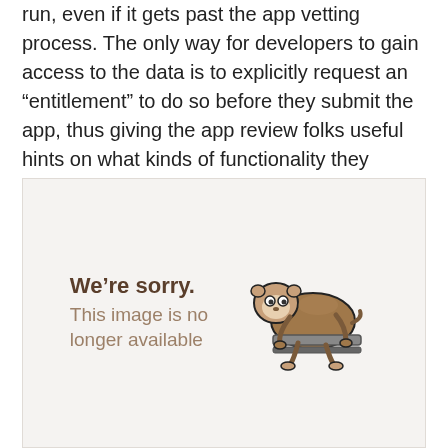run, even if it gets past the app vetting process. The only way for developers to gain access to the data is to explicitly request an “entitlement” to do so before they submit the app, thus giving the app review folks useful hints on what kinds of functionality they should specifically be examining to ensure compliance with the rules.
[Figure (illustration): A placeholder image showing a cartoon sloth hanging on a rail with text 'We're sorry. This image is no longer available']